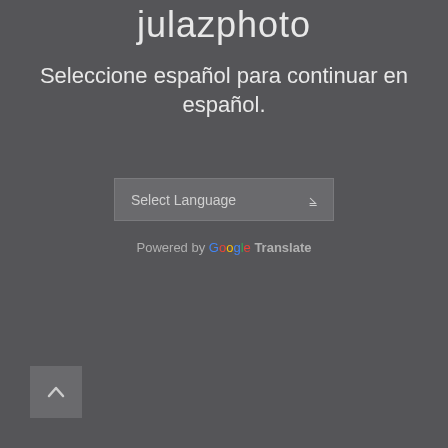julazphoto
Seleccione español para continuar en español.
[Figure (screenshot): Select Language dropdown widget]
Powered by Google Translate
[Figure (other): Back to top button with upward chevron arrow]